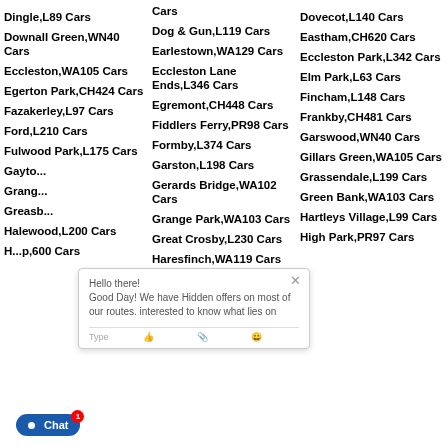Cars
Dingle,L89 Cars
Dog & Gun,L119 Cars
Dovecot,L140 Cars
Downall Green,WN40 Cars
Earlestown,WA129 Cars
Eastham,CH620 Cars
Eccleston,WA105 Cars
Eccleston Lane Ends,L346 Cars
Eccleston Park,L342 Cars
Egerton Park,CH424 Cars
Egremont,CH448 Cars
Elm Park,L63 Cars
Fazakerley,L97 Cars
Fiddlers Ferry,PR98 Cars
Fincham,L148 Cars
Ford,L210 Cars
Formby,L374 Cars
Frankby,CH481 Cars
Fulwood Park,L175 Cars
Garston,L198 Cars
Garswood,WN40 Cars
Gayton,...
Gerards Bridge,WA102 Cars
Gillars Green,WA105 Cars
Grange,...
Grange Park,WA103 Cars
Grassendale,L199 Cars
Greasb...
Great Crosby,L230 Cars
Green Bank,WA103 Cars
Halewood,L200 Cars
Haresfinch,WA119 Cars
Hartleys Village,L99 Cars
H...p,600 Cars
Higher Bebington,CH638 Cars
High Park,PR97 Cars